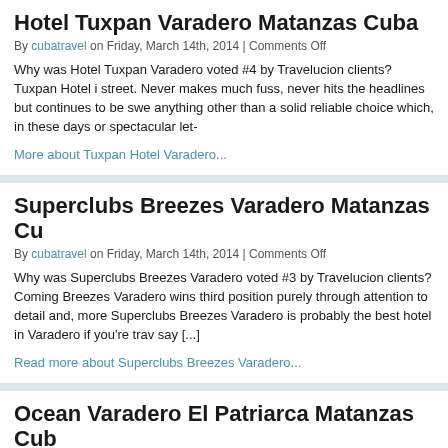Hotel Tuxpan Varadero Matanzas Cuba
By cubatravel on Friday, March 14th, 2014 | Comments Off
Why was Hotel Tuxpan Varadero voted #4 by Travelucion clients? Tuxpan Hotel is the hotel down the street. Never makes much fuss, never hits the headlines but continues to be sweet... anything other than a solid reliable choice which, in these days or spectacular let-
More about Tuxpan Hotel Varadero...
Superclubs Breezes Varadero Matanzas Cu
By cubatravel on Friday, March 14th, 2014 | Comments Off
Why was Superclubs Breezes Varadero voted #3 by Travelucion clients? Coming... Breezes Varadero wins third position purely through attention to detail and, more... Superclubs Breezes Varadero is probably the best hotel in Varadero if you're trav... say [...]
Read more about Superclubs Breezes Varadero...
Ocean Varadero El Patriarca Matanzas Cub
By cubatravel on Friday, March 14th, 2014 | Comments Off
Why was Ocean Varadero El Patriarca voted #2 by Travelucion clients? Ocean V... two spot for many of the same reasons as the number one hotel, it's a hotel that b... Varadero's "older" end of the peninsula, taking only the good, jettisoned the bad,
More about El Patriarca Varadero...